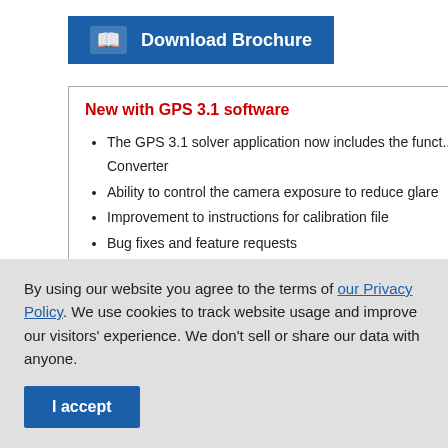[Figure (other): Download Brochure button with book icon, blue background, white text]
New with GPS 3.1 software
The GPS 3.1 solver application now includes the funct... Converter
Ability to control the camera exposure to reduce glare
Improvement to instructions for calibration file
Bug fixes and feature requests
By using our website you agree to the terms of our Privacy Policy. We use cookies to track website usage and improve our visitors' experience. We don't sell or share our data with anyone.
I accept